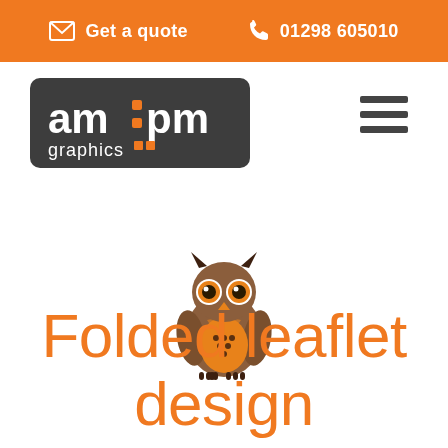Get a quote  01298 605010
[Figure (logo): am:pm graphics logo - dark grey rounded rectangle with white text 'am:pm' and orange dots, 'graphics' text below]
[Figure (illustration): Cartoon owl illustration with brown and orange coloring, large eyes, small beak, sitting upright]
Folded leaflet design